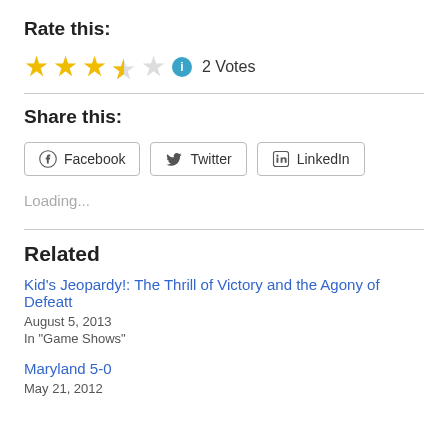Rate this:
[Figure (other): 3.5 out of 5 stars rating widget with info icon and '2 Votes' label]
Share this:
[Figure (other): Social share buttons: Facebook, Twitter, LinkedIn]
Loading...
Related
Kid's Jeopardy!: The Thrill of Victory and the Agony of Defeatt
August 5, 2013
In "Game Shows"
Maryland 5-0
May 21, 2012